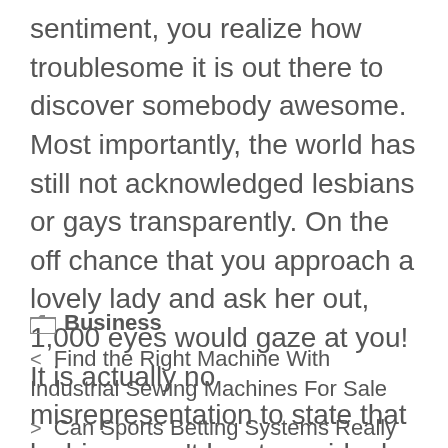sentiment, you realize how troublesome it is out there to discover somebody awesome. Most importantly, the world has still not acknowledged lesbians or gays transparently. On the off chance that you approach a lovely lady and ask her out, 1,000 eyes would gaze at you! It is actually no misrepresentation to state that lesbians can't locate an ideal mate for themselves without a ton of exertion.
Business
< Find the Right Machine With Industrial Sewing Machines For Sale
> Can Sports Betting Systems Really Help You Win?